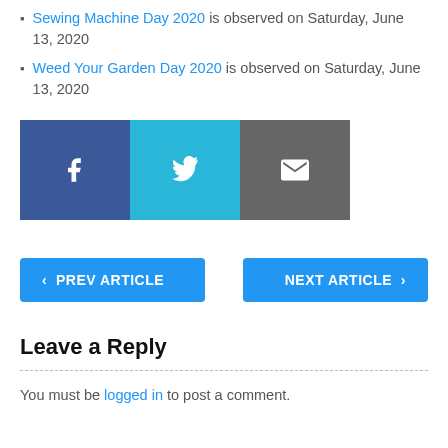Sewing Machine Day 2020 is observed on Saturday, June 13, 2020
Weed Your Garden Day 2020 is observed on Saturday, June 13, 2020
[Figure (infographic): Social sharing buttons: Facebook (blue), Twitter (cyan), Email (gray)]
< PREV ARTICLE
NEXT ARTICLE >
Leave a Reply
You must be logged in to post a comment.